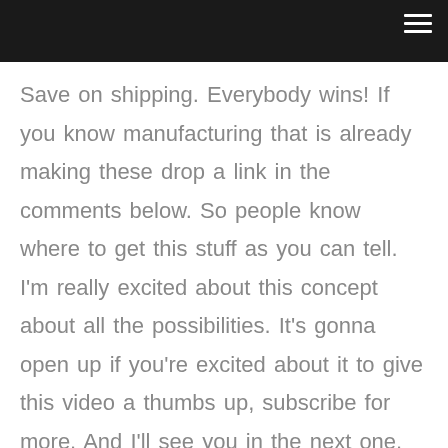Save on shipping. Everybody wins! If you know manufacturing that is already making these drop a link in the comments below. So people know where to get this stuff as you can tell. I'm really excited about this concept about all the possibilities. It's gonna open up if you're excited about it to give this video a thumbs up, subscribe for more. And I'll see you in the next one. Also, let me know how well you think. I did on the vlogging side of things I mean. I've never